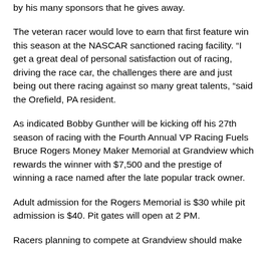by his many sponsors that he gives away.
The veteran racer would love to earn that first feature win this season at the NASCAR sanctioned racing facility. “I get a great deal of personal satisfaction out of racing, driving the race car, the challenges there are and just being out there racing against so many great talents, “said the Orefield, PA resident.
As indicated Bobby Gunther will be kicking off his 27th season of racing with the Fourth Annual VP Racing Fuels Bruce Rogers Money Maker Memorial at Grandview which rewards the winner with $7,500 and the prestige of winning a race named after the late popular track owner.
Adult admission for the Rogers Memorial is $30 while pit admission is $40. Pit gates will open at 2 PM.
Racers planning to compete at Grandview should make